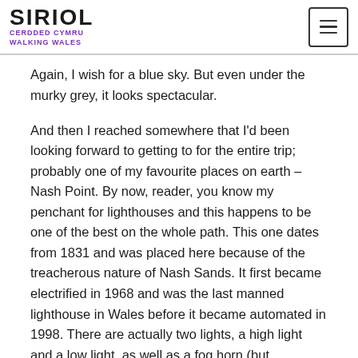SIRIOL CERDDED CYMRU WALKING WALES
Again, I wish for a blue sky. But even under the murky grey, it looks spectacular.
And then I reached somewhere that I'd been looking forward to getting to for the entire trip; probably one of my favourite places on earth – Nash Point. By now, reader, you know my penchant for lighthouses and this happens to be one of the best on the whole path. This one dates from 1831 and was placed here because of the treacherous nature of Nash Sands. It first became electrified in 1968 and was the last manned lighthouse in Wales before it became automated in 1998. There are actually two lights, a high light and a low light, as well as a fog horn (but